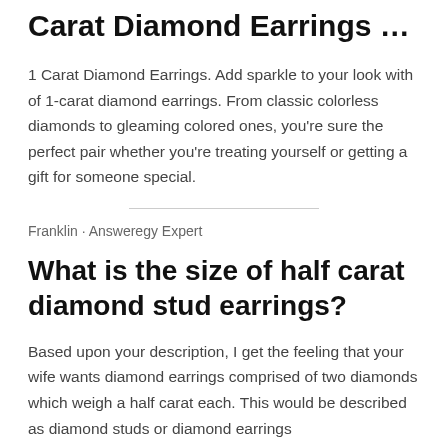Carat Diamond Earrings …
1 Carat Diamond Earrings. Add sparkle to your look with of 1-carat diamond earrings. From classic colorless diamonds to gleaming colored ones, you're sure the perfect pair whether you're treating yourself or getting a gift for someone special.
Franklin · Answeregy Expert
What is the size of half carat diamond stud earrings?
Based upon your description, I get the feeling that your wife wants diamond earrings comprised of two diamonds which weigh a half carat each. This would be described as diamond studs or diamond earrings